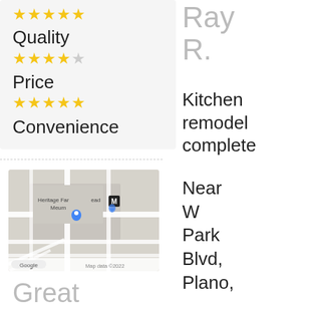[Figure (infographic): Star ratings for Quality (4 out of 5 yellow stars), Price (5 out of 5 yellow stars), and Convenience label shown in a light gray box]
[Figure (map): Google Maps screenshot showing Heritage Farmstead Museum area in Plano with a blue location pin. Map data ©2022.]
Great
Ray R.
Kitchen remodel complete
Near W Park Blvd, Plano,